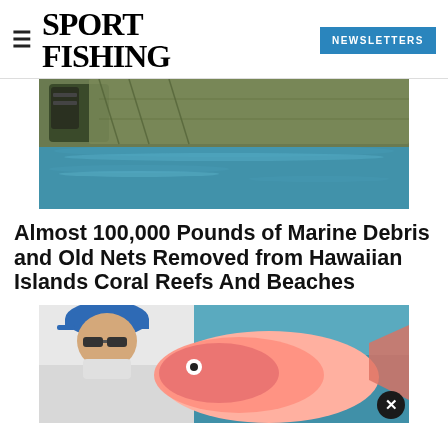SPORT FISHING | NEWSLETTERS
[Figure (photo): Debris and fishing nets floating at the water surface, with a dark barrel visible at the top left]
Almost 100,000 Pounds of Marine Debris and Old Nets Removed from Hawaiian Islands Coral Reefs And Beaches
[Figure (photo): Person wearing a blue cap and white shirt holding a large pink/red fish on a boat, with ocean water in the background]